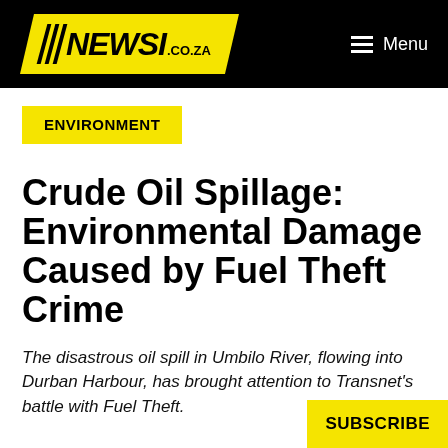NEWSI.CO.ZA | Menu
ENVIRONMENT
Crude Oil Spillage: Environmental Damage Caused by Fuel Theft Crime
The disastrous oil spill in Umbilo River, flowing into Durban Harbour, has brought attention to Transnet's battle with Fuel Theft.